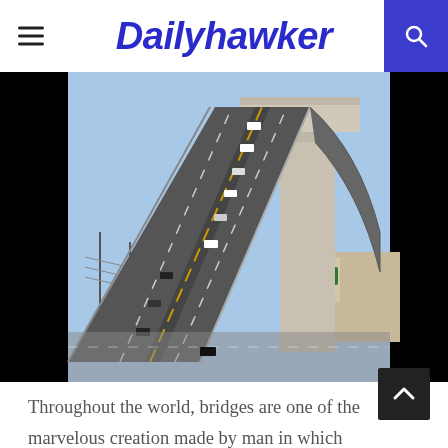Dailyhawker
[Figure (photo): A steep curved bridge photographed from below at an angle, showing cars driving up a dramatic incline. Traffic signs and urban infrastructure visible in the background.]
Throughout the world, bridges are one of the marvelous creation made by man in which architecture as well as creativity is seen. It serves two purposes to human; one by connecting the gaps and other one is that they become